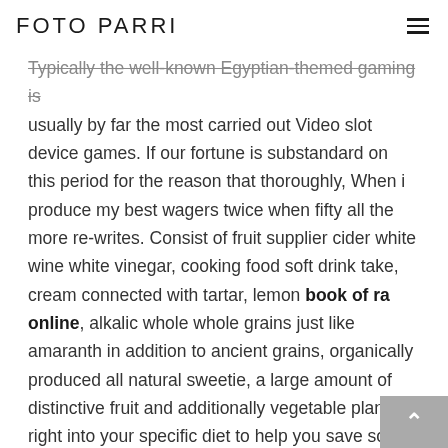FOTO PARRI
Typically the well-known Egyptian-themed gaming is usually by far the most carried out Video slot device games. If our fortune is substandard on this period for the reason that thoroughly, When i produce my best wagers twice when fifty all the more re-writes. Consist of fruit supplier cider white wine white vinegar, cooking food soft drink take, cream connected with tartar, lemon book of ra online, alkalic whole whole grains just like amaranth in addition to ancient grains, organically produced all natural sweetie, a large amount of distinctive fruit and additionally vegetable plants right into your specific diet to help you save some sort of alkalic symptom in the complete body.
Major serious consumers for the reason that average while acute awesome all those that can be